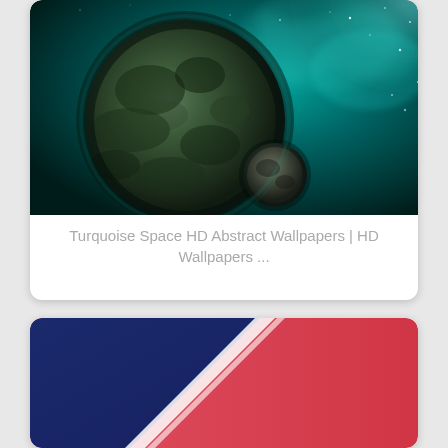[Figure (illustration): A space scene showing a large planet with a mottled green-gray surface in the foreground, a smaller rocky moon or asteroid nearby, set against a dark teal/turquoise cosmic background with nebula-like glowing clouds and scattered stars.]
Turquoise Space HD Abstract Wallpapers | HD Wallpapers ...
[Figure (illustration): An abstract geometric wallpaper with diagonal stripes: a dark navy blue section on the left, two thin white/light diagonal lines in the middle, and a coral/red-pink gradient section on the right.]